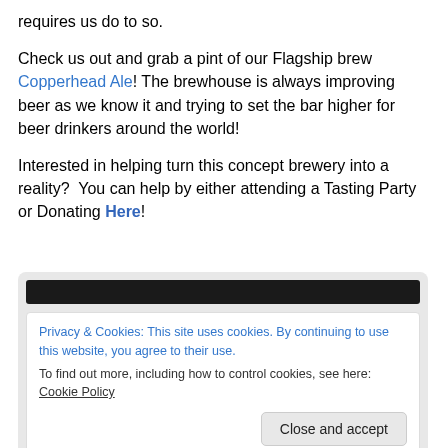requires us do to so.
Check us out and grab a pint of our Flagship brew Copperhead Ale! The brewhouse is always improving beer as we know it and trying to set the bar higher for beer drinkers around the world!
Interested in helping turn this concept brewery into a reality?  You can help by either attending a Tasting Party or Donating Here!
Privacy & Cookies: This site uses cookies. By continuing to use this website, you agree to their use.
To find out more, including how to control cookies, see here: Cookie Policy
Close and accept
Shirts?...pft, no way!! Give me Pint